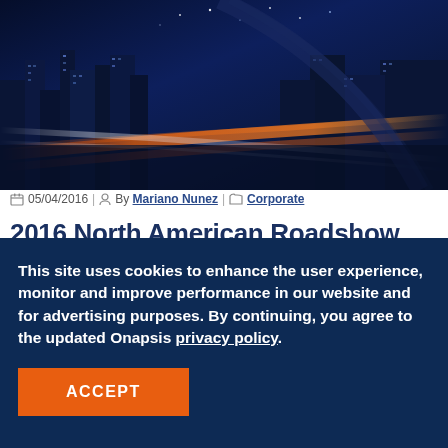[Figure (photo): Nighttime cityscape with light trails from traffic, dark blue tones with orange and red highway lights]
05/04/2016 | By Mariano Nunez | Corporate
2016 North American Roadshow Series - Coming to a City Near You!
I'm pleased to announce that today we're kicking off our
This site uses cookies to enhance the user experience, monitor and improve performance in our website and for advertising purposes. By continuing, you agree to the updated Onapsis privacy policy.
ACCEPT